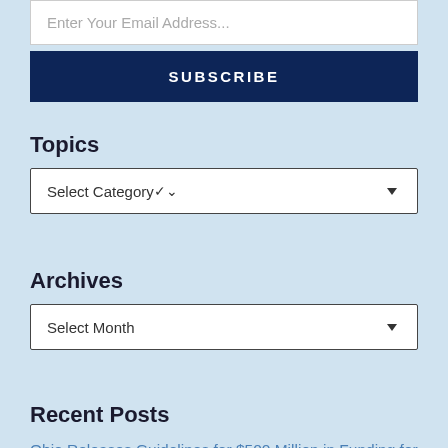Enter Your Email Address...
SUBSCRIBE
Topics
Select Category
Archives
Select Month
Recent Posts
Ohio Releases Guidelines for $500 Million in Funding for Brownfield and Demolition Programs